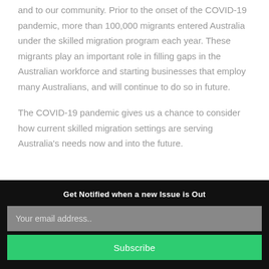and to our community. Prior to the onset of the COVID-19 pandemic, more than 100,000 migrants entered Australia under the skilled migration program each year. These migrants play an important role in filling gaps in the Australian workforce and starting businesses that employ many Australians, and will continue to do so in future.
The COVID-19 pandemic gives us a chance to consider how current skilled migration settings are serving Australia's needs now and into the future.
Get Notified when a new Issue is Out
Your email address..
Subscribe